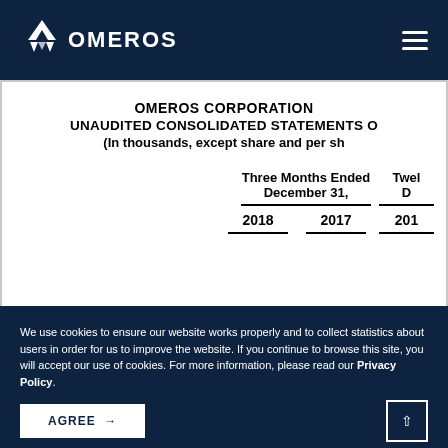OMEROS
OMEROS CORPORATION
UNAUDITED CONSOLIDATED STATEMENTS O
(In thousands, except share and per sh
| Three Months Ended December 31, 2018 | Three Months Ended December 31, 2017 | Twelve Months Ended D... 201... |
| --- | --- | --- |
We use cookies to ensure our website works properly and to collect statistics about users in order for us to improve the website. If you continue to browse this site, you will accept our use of cookies. For more information, please read our Privacy Policy.